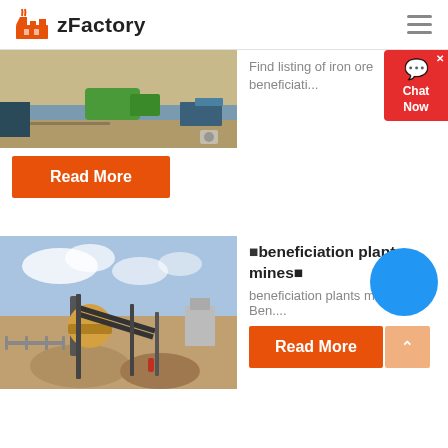zFactory
[Figure (photo): Aerial/ground view of an industrial site with green equipment and shipping containers]
Find listing of iron ore beneficiati...
Read More
[Figure (photo): Outdoor mining/beneficiation plant with conveyor belts, machinery, and blue sky]
beneficiation plants mines
beneficiation plants mines. Ben....
Read More